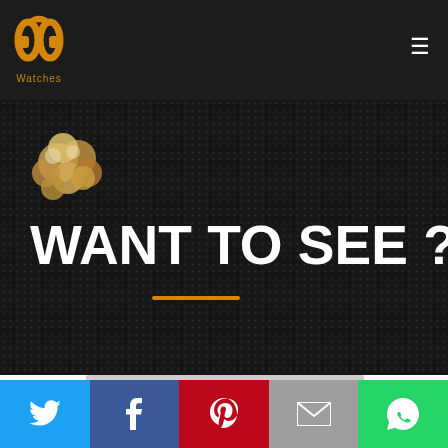[Figure (logo): PP Watches logo with golden headphone-like icon and text 'Watches' below, on dark background header]
[Figure (photo): Dark dotted background with a small popcorn/flower image in top left and large white bold text 'WANT TO SEE ?' with an orange horizontal line below it]
[Figure (infographic): Social sharing bar at the bottom with Twitter (blue), Facebook (dark blue), Pinterest (red), Email (grey), WhatsApp (green) icons]